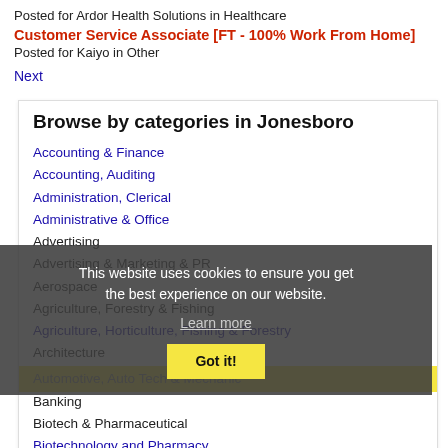Posted for Ardor Health Solutions in Healthcare
Customer Service Associate [FT - 100% Work From Home]
Posted for Kaiyo in Other
Next
Browse by categories in Jonesboro
Accounting & Finance
Accounting, Auditing
Administration, Clerical
Administrative & Office
Advertising
Advertising & Marketing & PR
Aerospace
Agriculture, Forestry & Fishing
Agriculture, Horticulture, Fishing & Forestry
Architecture
Automotive, Auto Tech & Mechanic
Banking
Biotech & Pharmaceutical
Biotechnology and Pharmacy
This website uses cookies to ensure you get the best experience on our website. Learn more Got it!